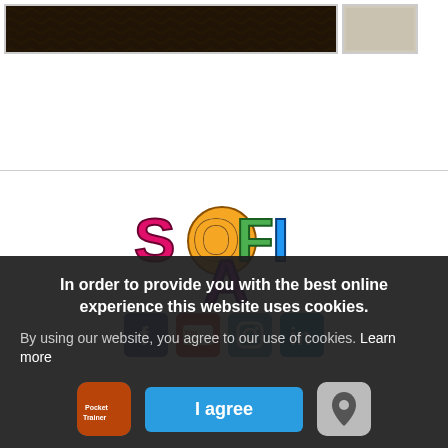[Figure (screenshot): Top thumbnails: dark patterned image on left, light grey/beige image on right]
[Figure (logo): SOFIA colorful logo with letters S, O, F, I, A in bright colors]
[Figure (infographic): Social media icons: Facebook, YouTube, Instagram, LinkedIn]
In order to provide you with the best online experience this website uses cookies.
By using our website, you agree to our use of cookies. Learn more
I agree